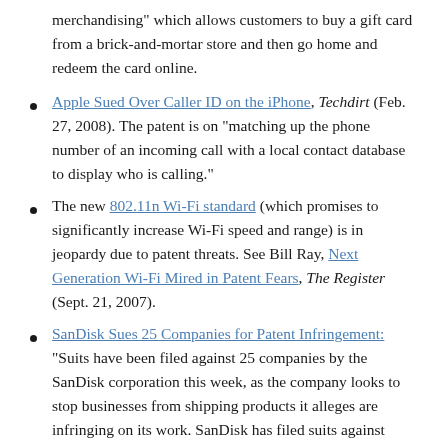merchandising" which allows customers to buy a gift card from a brick-and-mortar store and then go home and redeem the card online.
Apple Sued Over Caller ID on the iPhone, Techdirt (Feb. 27, 2008). The patent is on "matching up the phone number of an incoming call with a local contact database to display who is calling."
The new 802.11n Wi-Fi standard (which promises to significantly increase Wi-Fi speed and range) is in jeopardy due to patent threats. See Bill Ray, Next Generation Wi-Fi Mired in Patent Fears, The Register (Sept. 21, 2007).
SanDisk Sues 25 Companies for Patent Infringement: "Suits have been filed against 25 companies by the SanDisk corporation this week, as the company looks to stop businesses from shipping products it alleges are infringing on its work. SanDisk has filed suits against everyone from MP3 player manufacturers to USB hard drive creators. The list of defendants is staggering, and